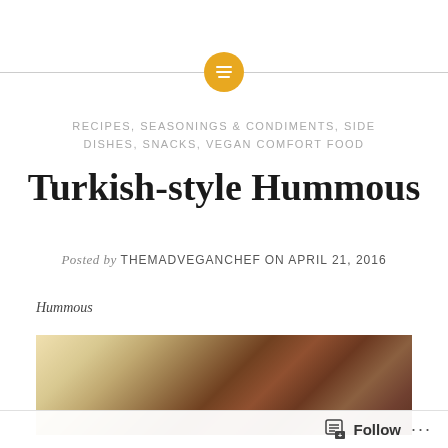[Figure (other): Decorative divider with horizontal lines and a golden circle containing a list/menu icon]
RECIPES, SEASONINGS & CONDIMENTS, SIDE DISHES, SNACKS, VEGAN COMFORT FOOD
Turkish-style Hummous
Posted by THEMADVEGANCHEF on APRIL 21, 2016
Hummous
[Figure (photo): Close-up photograph of grilled flatbread or pita triangles on a wooden board, warm tones of brown and gold]
Follow ...